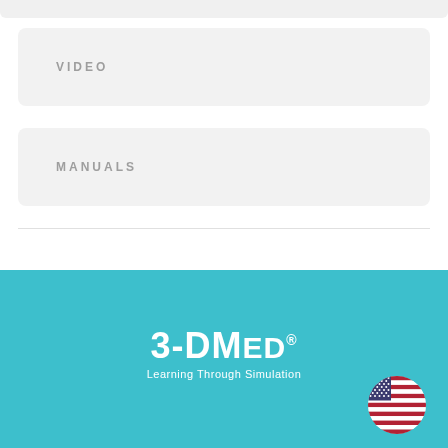VIDEO
MANUALS
[Figure (logo): 3-DMed logo with text 'Learning Through Simulation' on teal background, with US flag circle icon in bottom right]
3-DMed. Learning Through Simulation